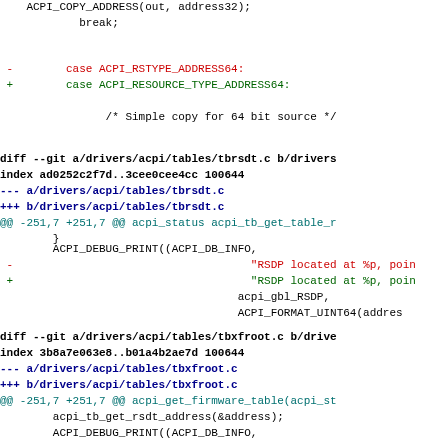ACPI_COPY_ADDRESS(out, address32);
            break;
-        case ACPI_RSTYPE_ADDRESS64:
+        case ACPI_RESOURCE_TYPE_ADDRESS64:
/* Simple copy for 64 bit source */
diff --git a/drivers/acpi/tables/tbrsdt.c b/drivers
index ad0252c2f7d..3cee0cee4cc 100644
--- a/drivers/acpi/tables/tbrsdt.c
+++ b/drivers/acpi/tables/tbrsdt.c
@@ -251,7 +251,7 @@ acpi_status acpi_tb_get_table_r
        }
ACPI_DEBUG_PRINT((ACPI_DB_INFO,
-                                    "RSDP located at %p, poin
+                                    "RSDP located at %p, poin
                                    acpi_gbl_RSDP,
                                    ACPI_FORMAT_UINT64(addres
diff --git a/drivers/acpi/tables/tbxfroot.c b/drive
index 3b8a7e063e8..b01a4b2ae7d 100644
--- a/drivers/acpi/tables/tbxfroot.c
+++ b/drivers/acpi/tables/tbxfroot.c
@@ -251,7 +251,7 @@ acpi_get_firmware_table(acpi_st
acpi_tb_get_rsdt_address(&address);
        ACPI_DEBUG_PRINT((ACPI_DB_INFO,